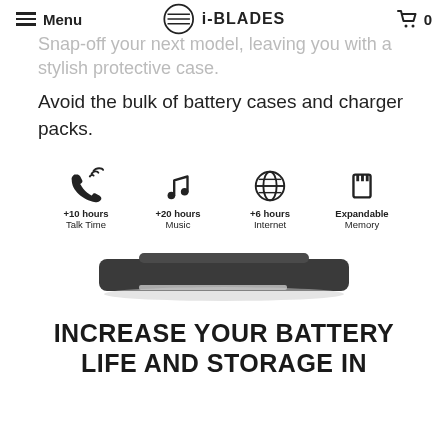Menu | i-BLADES | 0
Snap-off your next model, leaving you with a stylish protective case.
Avoid the bulk of battery cases and charger packs.
[Figure (infographic): Product infographic showing four icons: a phone handset (+10 hours Talk Time), a music note (+20 hours Music), a globe (+6 hours Internet), and an SD card (Expandable Memory), above an image of the i-BLADES device module.]
INCREASE YOUR BATTERY LIFE AND STORAGE IN